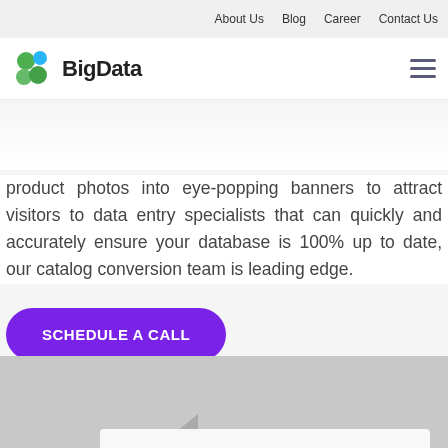About Us  Blog  Career  Contact Us
[Figure (logo): BigData logo with colorful circular nodes icon and company name text]
product photos into eye-popping banners to attract visitors to data entry specialists that can quickly and accurately ensure your database is 100% up to date, our catalog conversion team is leading edge.
SCHEDULE A CALL
[Figure (screenshot): Partial screenshot showing a white card/panel with a grey triangle shape on dark grey background, partially visible at bottom of page]